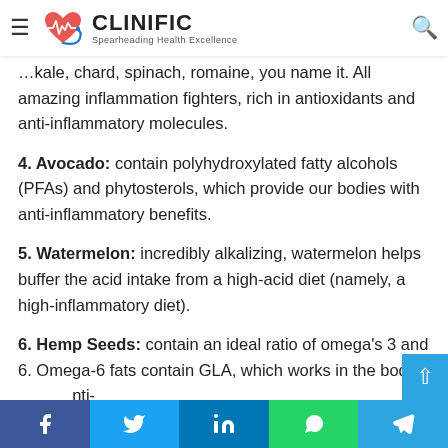CLINIFIC — Spearheading Health Excellence
…kale, chard, spinach, romaine, you name it. All amazing inflammation fighters, rich in antioxidants and anti-inflammatory molecules.
4. Avocado: contain polyhydroxylated fatty alcohols (PFAs) and phytosterols, which provide our bodies with anti-inflammatory benefits.
5. Watermelon: incredibly alkalizing, watermelon helps buffer the acid intake from a high-acid diet (namely, a high-inflammatory diet).
6. Hemp Seeds: contain an ideal ratio of omega's 3 and 6. Omega-6 fats contain GLA, which works in the body as an anti-inflammatory, decreasing inflammation and helping people
Facebook | Twitter | LinkedIn | WhatsApp | Telegram